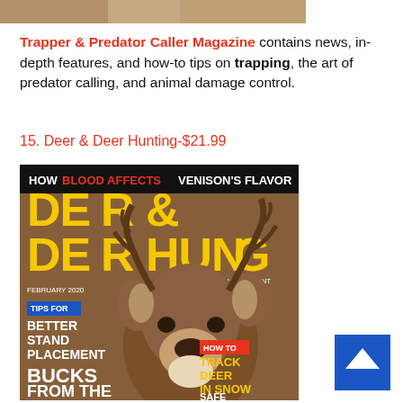[Figure (photo): Top portion of a magazine page showing partial image of animal/trapper content at the top edge]
Trapper & Predator Caller Magazine contains news, in-depth features, and how-to tips on trapping, the art of predator calling, and animal damage control.
15. Deer & Deer Hunting-$21.99
[Figure (photo): Cover of Deer & Deer Hunting magazine (February 2020) featuring a close-up photo of a buck deer with large antlers. Cover text includes: HOW BLOOD AFFECTS VENISON'S FLAVOR, DEER & DEER HUNTING, SCOUT•MANAGE•HUNT, FEBRUARY 2020, TIPS FOR BETTER STAND PLACEMENT, HOW TO TRACK DEER IN SNOW, BUCKS FROM THE BOONIES, SAFE STANDS]
[Figure (infographic): Blue scroll-to-top arrow button in bottom right corner]